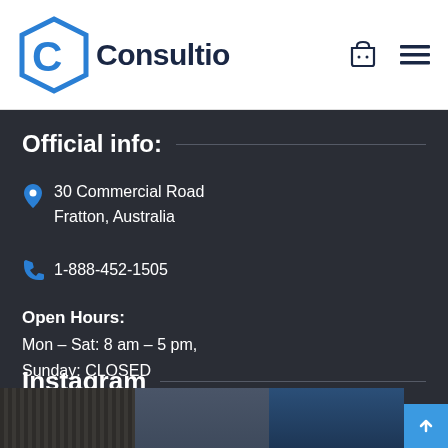[Figure (logo): Consultio logo with blue hexagonal C icon and dark navy bold text 'Consultio']
[Figure (other): Shopping basket icon and hamburger menu icon in dark navy]
Official info:
30 Commercial Road
Fratton, Australia
1-888-452-1505
Open Hours:
Mon – Sat: 8 am – 5 pm,
Sunday: CLOSED
Instagram
[Figure (photo): Three partially visible Instagram photo thumbnails at the bottom of the dark section]